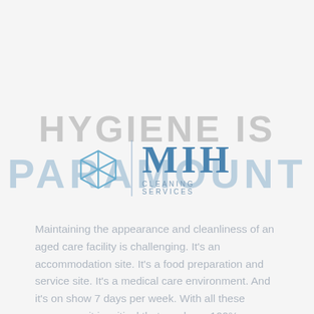HYGIENE IS PARAMOUNT
[Figure (logo): MIH Cleaning Services logo with a geometric cube/box icon in blue outline on the left, a vertical divider line, and 'MIH' in large serif blue letters with 'CLEANING SERVICES' in small spaced caps below.]
Maintaining the appearance and cleanliness of an aged care facility is challenging. It's an accommodation site. It's a food preparation and service site. It's a medical care environment. And it's on show 7 days per week. With all these pressures, it is critical that you have 100% confidence in your cleaning service providing a consistent, high-quality standard of cleaning on time, every time – and at the right price.